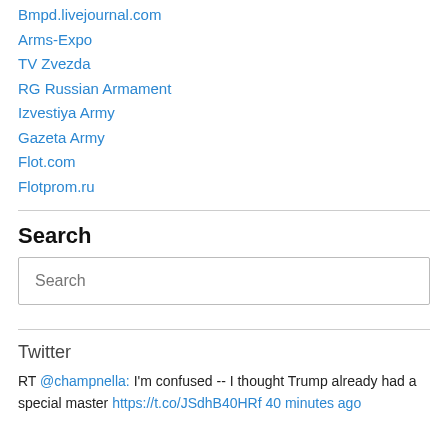Bmpd.livejournal.com
Arms-Expo
TV Zvezda
RG Russian Armament
Izvestiya Army
Gazeta Army
Flot.com
Flotprom.ru
Search
Search
Twitter
RT @champnella: I'm confused -- I thought Trump already had a special master https://t.co/JSdhB40HRf 40 minutes ago